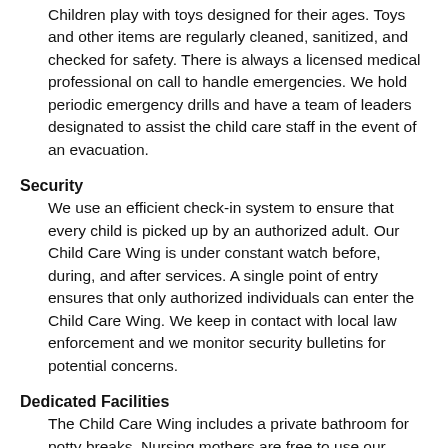Children play with toys designed for their ages. Toys and other items are regularly cleaned, sanitized, and checked for safety. There is always a licensed medical professional on call to handle emergencies. We hold periodic emergency drills and have a team of leaders designated to assist the child care staff in the event of an evacuation.
Security
We use an efficient check-in system to ensure that every child is picked up by an authorized adult. Our Child Care Wing is under constant watch before, during, and after services. A single point of entry ensures that only authorized individuals can enter the Child Care Wing. We keep in contact with local law enforcement and we monitor security bulletins for potential concerns.
Dedicated Facilities
The Child Care Wing includes a private bathroom for potty breaks. Nursing mothers are free to use our mothers' room complete with rocking chairs, changing table, and a sink.
A Fun, Loving Environment to Learn and Grow